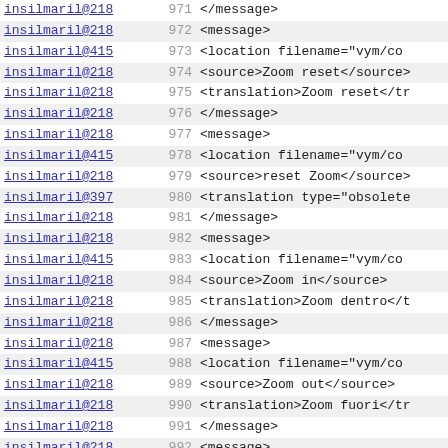| author | line | code |
| --- | --- | --- |
| insilmaril@218 | 971 | </message> |
| insilmaril@218 | 972 | <message> |
| insilmaril@415 | 973 | <location filename="vym/co |
| insilmaril@218 | 974 | <source>Zoom reset</source> |
| insilmaril@218 | 975 | <translation>Zoom reset</tr |
| insilmaril@218 | 976 | </message> |
| insilmaril@218 | 977 | <message> |
| insilmaril@415 | 978 | <location filename="vym/co |
| insilmaril@218 | 979 | <source>reset Zoom</source> |
| insilmaril@397 | 980 | <translation type="obsolete |
| insilmaril@218 | 981 | </message> |
| insilmaril@218 | 982 | <message> |
| insilmaril@415 | 983 | <location filename="vym/co |
| insilmaril@218 | 984 | <source>Zoom in</source> |
| insilmaril@218 | 985 | <translation>Zoom dentro</t |
| insilmaril@218 | 986 | </message> |
| insilmaril@218 | 987 | <message> |
| insilmaril@415 | 988 | <location filename="vym/co |
| insilmaril@218 | 989 | <source>Zoom out</source> |
| insilmaril@218 | 990 | <translation>Zoom fuori</tr |
| insilmaril@218 | 991 | </message> |
| insilmaril@218 | 992 | <message> |
| insilmaril@415 | 993 | <location filename="vym/co |